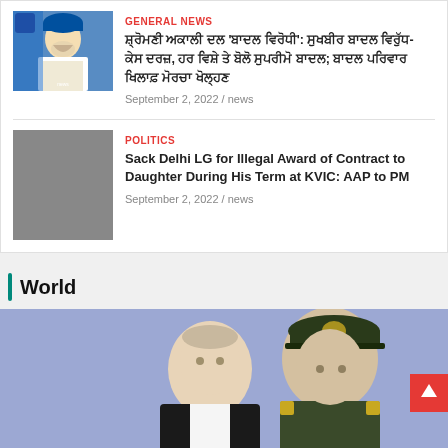GENERAL NEWS
ਸ਼੍ਰੋਮਣੀ ਅਕਾਲੀ ਦਲ 'ਬਾਦਲ ਵਿਰੋਧੀ': ਸੁਖਬੀਰ ਬਾਦਲ ਵਿਰੁੱਧ- ਕੇਸ ਦਰਜ਼, ਹਰ ਵਿਸ਼ੇ ਤੇ ਬੋਲੋ ਸੁਪਰੀਮੋ ਬਾਦਲ; ਬਾਦਲ ਪਰਿਵਾਰ ਖਿਲਾਫ਼ ਮੋਰਚਾ ਖੋਲ੍ਹਣ
September 2, 2022 / news
POLITICS
Sack Delhi LG for Illegal Award of Contract to Daughter During His Term at KVIC: AAP to PM
September 2, 2022 / news
World
[Figure (photo): Two men in formal/military attire, one in a dark suit and one in military uniform with a decorated cap, standing together against a purple/blue background. The image appears to show Russian officials.]